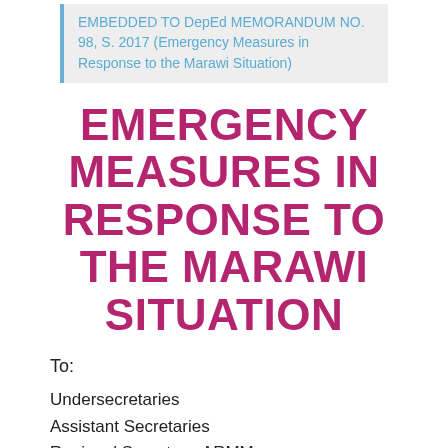EMBEDDED TO DepEd MEMORANDUM NO. 98, S. 2017 (Emergency Measures in Response to the Marawi Situation)
EMERGENCY MEASURES IN RESPONSE TO THE MARAWI SITUATION
To:
Undersecretaries
Assistant Secretaries
Regional Secretary, ARMM
Bureau and Service Directors
Regional Directors